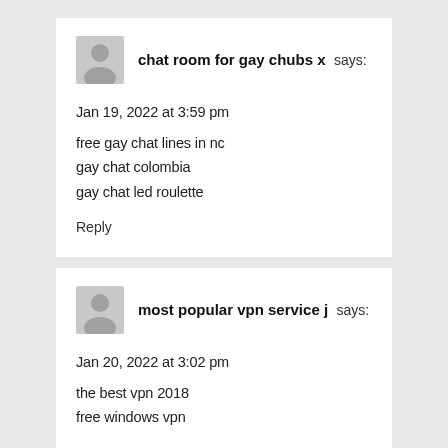[Figure (illustration): Gray default user avatar icon for first commenter]
chat room for gay chubs x says:
Jan 19, 2022 at 3:59 pm
free gay chat lines in nc
gay chat colombia
gay chat led roulette
Reply
[Figure (illustration): Gray default user avatar icon for second commenter]
most popular vpn service j says:
Jan 20, 2022 at 3:02 pm
the best vpn 2018
free windows vpn